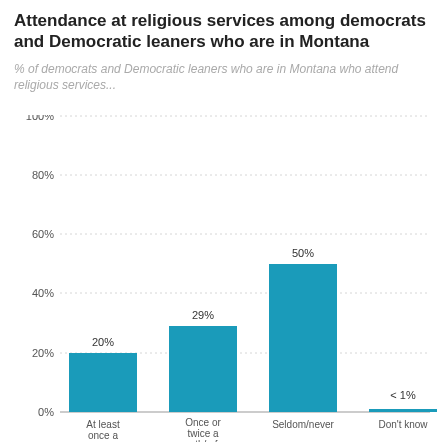Attendance at religious services among democrats and Democratic leaners who are in Montana
% of democrats and Democratic leaners who are in Montana who attend religious services...
[Figure (bar-chart): Attendance at religious services among democrats and Democratic leaners who are in Montana]